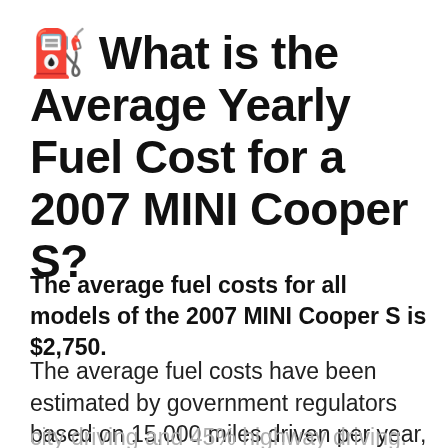⛽ What is the Average Yearly Fuel Cost for a 2007 MINI Cooper S?
The average fuel costs for all models of the 2007 MINI Cooper S is $2,750.
The average fuel costs have been estimated by government regulators based on 15,000 miles driven per year, using regular gasoline, and a split of 55% city driving and 45% highway driving.